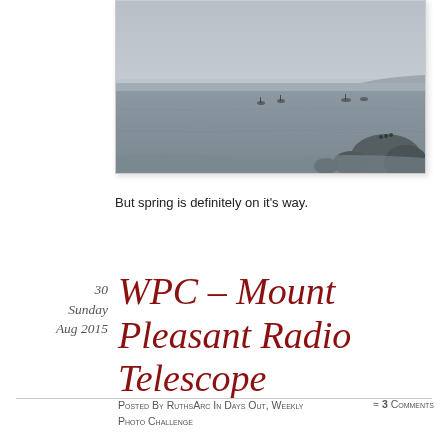[Figure (photo): Misty coastal seascape with small boats on calm water and rocks in the foreground. Foggy, overcast sky.]
But spring is definitely on it's way.
30
Sunday
Aug 2015
WPC – Mount Pleasant Radio Telescope
Posted by RuthsArc in days out, weekly photo challenge ≈ 3 Comments